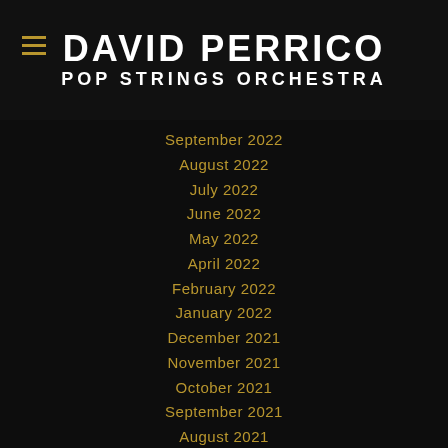DAVID PERRICO POP STRINGS ORCHESTRA
September 2022
August 2022
July 2022
June 2022
May 2022
April 2022
February 2022
January 2022
December 2021
November 2021
October 2021
September 2021
August 2021
June 2021
May 2021
April 2021
March 2021
February 2021